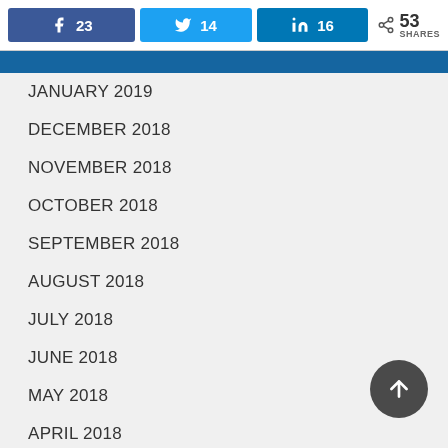[Figure (infographic): Social share bar with Facebook (23), Twitter (14), LinkedIn (16), and total 53 SHARES]
JANUARY 2019
DECEMBER 2018
NOVEMBER 2018
OCTOBER 2018
SEPTEMBER 2018
AUGUST 2018
JULY 2018
JUNE 2018
MAY 2018
APRIL 2018
MARCH 2018
FEBRUARY 2018
JANUARY 2018
DECEMBER 2017
NOVEMBER 2017